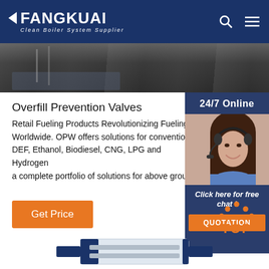FANGKUAI - Clean Boiler System Supplier
[Figure (photo): Hero/banner image showing industrial equipment in dark tones]
Overfill Prevention Valves
Retail Fueling Products Revolutionizing Fueling Worldwide. OPW offers solutions for convention DEF, Ethanol, Biodiesel, CNG, LPG and Hydrogen a complete portfolio of solutions for above grou
[Figure (illustration): 24/7 Online customer support widget with photo of female operator wearing headset, blue background, orange QUOTATION button, 'Click here for free chat!' text]
[Figure (illustration): TOP navigation button with orange dot pattern and orange TOP text]
[Figure (photo): Bottom product image showing industrial boiler equipment]